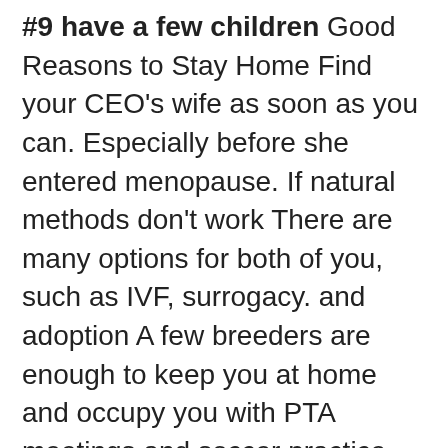#9 have a few children Good Reasons to Stay Home Find your CEO's wife as soon as you can. Especially before she entered menopause. If natural methods don't work There are many options for both of you, such as IVF, surrogacy. and adoption A few breeders are enough to keep you at home and occupy you with PTA meetings and soccer practice.
#10 Set a foundation. In order to project how good you are at managing your time *and of course you are*, you need to be involved in charity. This makes sense that you're not just drinking wine or playing video games at home. Use your free time *all day* to establish foundations, such as the Antarctic Squeak Parrot welfare movement. So you have more